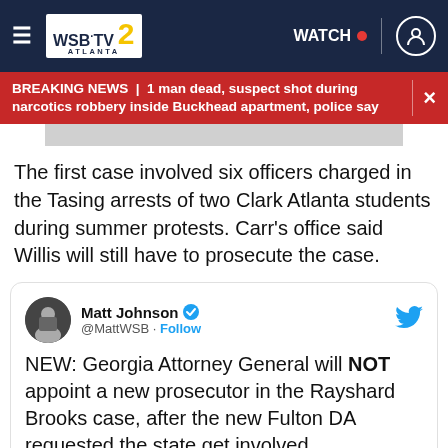WSB-TV 2 ATLANTA | WATCH | user icon
BREAKING NEWS | 1 man dead, suspect shot during narcotics robbery inside Buckhead apartment, police say
[Figure (photo): Gray image placeholder strip]
The first case involved six officers charged in the Tasing arrests of two Clark Atlanta students during summer protests. Carr's office said Willis will still have to prosecute the case.
[Figure (screenshot): Embedded tweet from Matt Johnson @MattWSB: NEW: Georgia Attorney General will NOT appoint a new prosecutor in the Rayshard Brooks case, after the new Fulton DA requested the state get involved. Background info:]